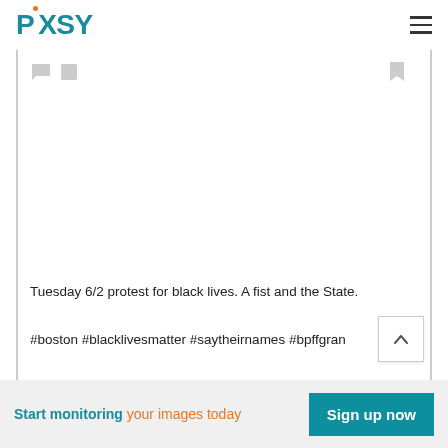PIXSY
[Figure (screenshot): Pixsy website screenshot showing a photo post with social sharing icons (comment bubble, share, bookmark), image area, caption text and hashtags]
Tuesday 6/2 protest for black lives. A fist and the State.
#boston #blacklivesmatter #saytheirnames #bpffgran
Start monitoring your images today   Sign up now